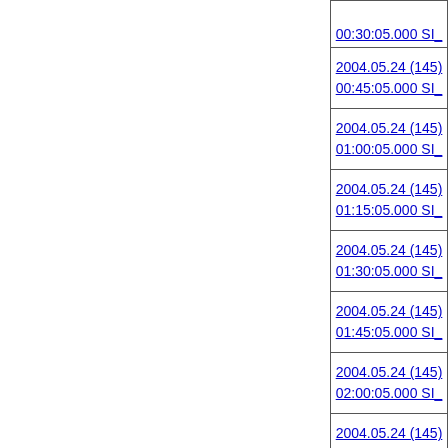| 00:30:05.000 SI_ |
| 2004.05.24 (145)
00:45:05.000 SI_ |
| 2004.05.24 (145)
01:00:05.000 SI_ |
| 2004.05.24 (145)
01:15:05.000 SI_ |
| 2004.05.24 (145)
01:30:05.000 SI_ |
| 2004.05.24 (145)
01:45:05.000 SI_ |
| 2004.05.24 (145)
02:00:05.000 SI_ |
| 2004.05.24 (145)
02:15:05.000 SI_ |
| 2004.05.24 (145)
02:30:05.000 SI_ |